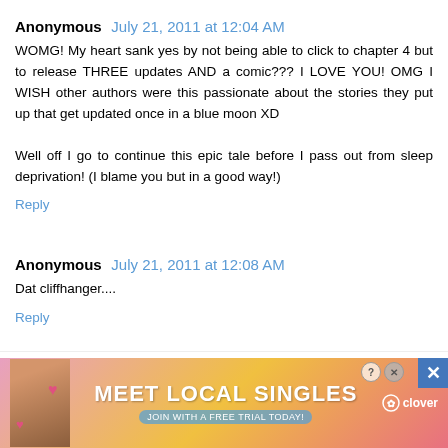Anonymous — July 21, 2011 at 12:04 AM
WOMG! My heart sank yes by not being able to click to chapter 4 but to release THREE updates AND a comic??? I LOVE YOU! OMG I WISH other authors were this passionate about the stories they put up that get updated once in a blue moon XD

Well off I go to continue this epic tale before I pass out from sleep deprivation! (I blame you but in a good way!)
Reply
Anonymous — July 21, 2011 at 12:08 AM
Dat cliffhanger....
Reply
Kain Murasaki — July 21, 2011 at 12:08 AM
Everyone is in character, and the relationship
[Figure (advertisement): Meet Local Singles advertisement banner with a woman photo, pink/orange gradient background, clover dating app branding]